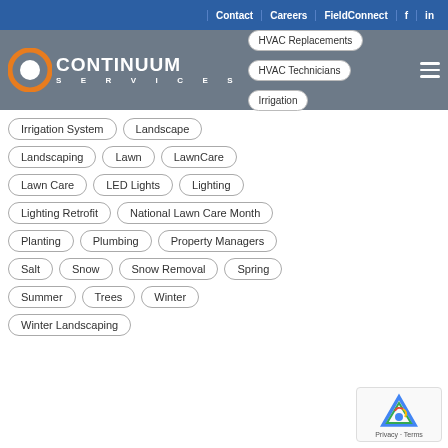Contact | Careers | FieldConnect | f | in
[Figure (screenshot): Continuum Services logo with orange circle and navigation buttons: HVAC Replacements, HVAC Technicians, Irrigation]
Irrigation System
Landscape
Landscaping
Lawn
LawnCare
Lawn Care
LED Lights
Lighting
Lighting Retrofit
National Lawn Care Month
Planting
Plumbing
Property Managers
Salt
Snow
Snow Removal
Spring
Summer
Trees
Winter
Winter Landscaping